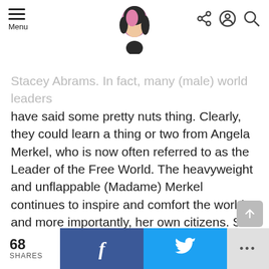Menu [logo] [share] [account] [search]
Stacey Abrams.  In fact, many (male) world leaders have said some pretty nuts thing.  Clearly, they could learn a thing or two from Angela Merkel, who is now often referred to as the Leader of the Free World.  The heavyweight and unflappable (Madame) Merkel continues to inspire and comfort the world, and more importantly, her own citizens.  She does this by avoiding drama (she's only given one speech so far) and by focusing on what needs to be done, giving this emergency the gravitas it deserves.  Refreshing, no?  I doubt no-nonsense Merkel is terribly sorry about not smiling more (quite honestly, I'm not even sure
68 SHARES  [Facebook]  [Twitter]  ...